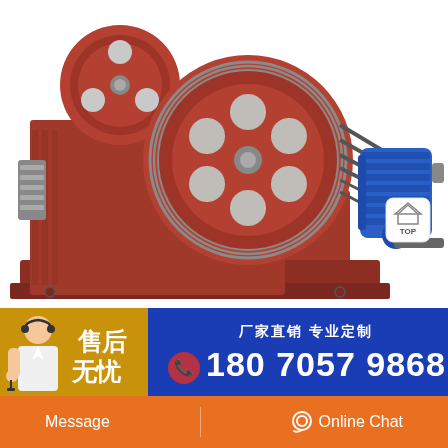[Figure (photo): Industrial jaw crusher machine with large red flywheels, drive belts, and a blue electric motor mounted on a red cast iron frame base]
厂家直销 专业定制
售后无忧
180 7057 9868
Message
Online Chat